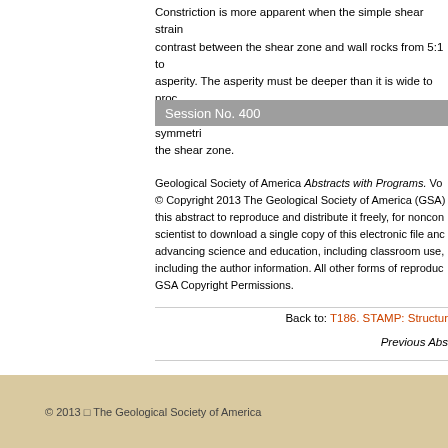Constriction is more apparent when the simple shear strain contrast between the shear zone and wall rocks from 5:1 to asperity. The asperity must be deeper than it is wide to proc zones indicate that constriction is possible in both symmetri the shear zone.
Session No. 400
Geological Society of America Abstracts with Programs. Vol © Copyright 2013 The Geological Society of America (GSA) this abstract to reproduce and distribute it freely, for noncon scientist to download a single copy of this electronic file anc advancing science and education, including classroom use, including the author information. All other forms of reproduc GSA Copyright Permissions.
Back to: T186. STAMP: Structur
Previous Abs
© 2013 □ The Geological Society of America